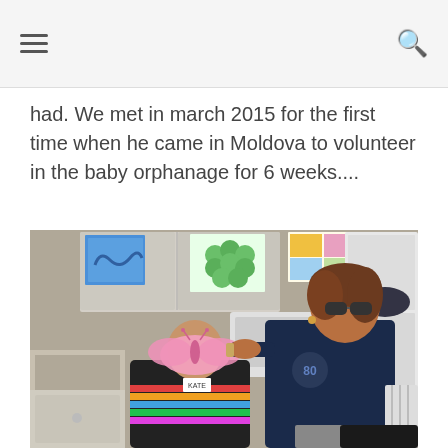had. We met in march 2015 for the first time when he came in Moldova to volunteer in the baby orphanage for 6 weeks....
[Figure (photo): A woman placing a pink butterfly mask on a seated young person wearing a colorful striped shirt, in a kitchen or activity room with children's artwork hung on the cabinets in the background.]